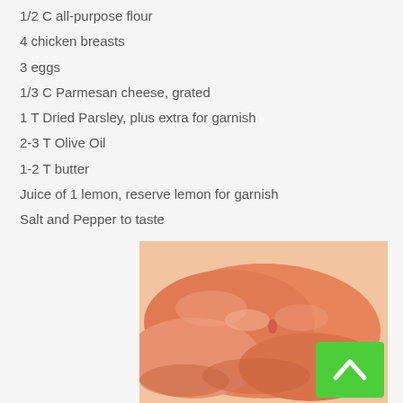1/2 C all-purpose flour
4 chicken breasts
3 eggs
1/3 C Parmesan cheese, grated
1 T Dried Parsley, plus extra for garnish
2-3 T Olive Oil
1-2 T butter
Juice of 1 lemon, reserve lemon for garnish
Salt and Pepper to taste
[Figure (photo): Raw chicken breasts arranged on a surface, salmon-pink colored, with a green scroll-to-top button overlay in the bottom right corner]